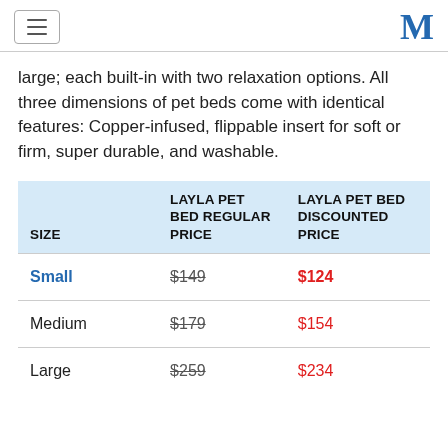[hamburger menu] [M logo]
large; each built-in with two relaxation options. All three dimensions of pet beds come with identical features: Copper-infused, flippable insert for soft or firm, super durable, and washable.
| SIZE | LAYLA PET BED REGULAR PRICE | LAYLA PET BED DISCOUNTED PRICE |
| --- | --- | --- |
| Small | $149 | $124 |
| Medium | $179 | $154 |
| Large | $259 | $234 |